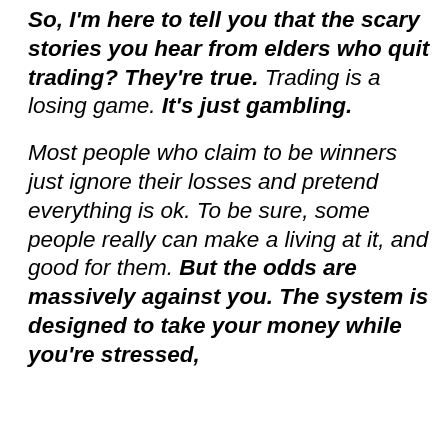So, I'm here to tell you that the scary stories you hear from elders who quit trading? They're true. Trading is a losing game. It's just gambling.

Most people who claim to be winners just ignore their losses and pretend everything is ok. To be sure, some people really can make a living at it, and good for them. But the odds are massively against you. The system is designed to take your money while you're stressed,